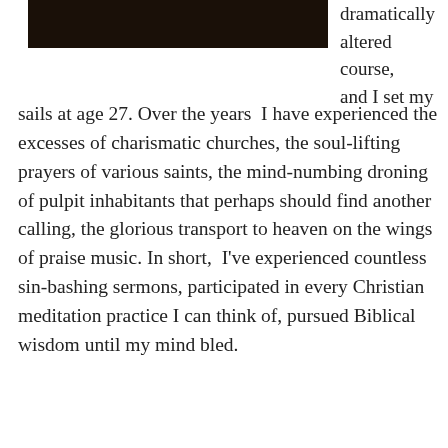[Figure (photo): Dark/black image at top left, appears to be a photograph of a dark scene or silhouette]
dramatically altered course, and I set my sails at age 27. Over the years I have experienced the excesses of charismatic churches, the soul-lifting prayers of various saints, the mind-numbing droning of pulpit inhabitants that perhaps should find another calling, the glorious transport to heaven on the wings of praise music. In short, I've experienced countless sin-bashing sermons, participated in every Christian meditation practice I can think of, pursued Biblical wisdom until my mind bled.